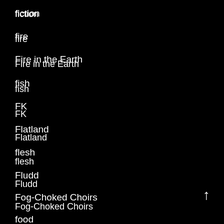fiction
fire
Fire in the Earth
fish
FK
Flatland
flesh
Fludd
Fog-Choked Choirs
food
forest language
fortune telling